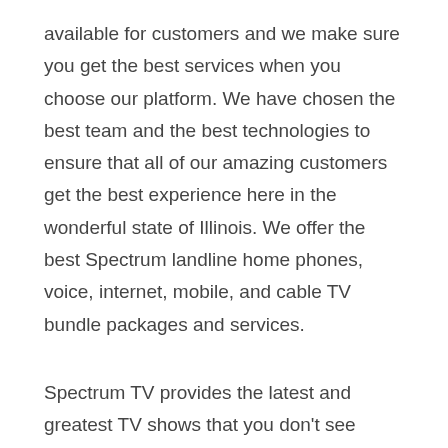available for customers and we make sure you get the best services when you choose our platform. We have chosen the best team and the best technologies to ensure that all of our amazing customers get the best experience here in the wonderful state of Illinois. We offer the best Spectrum landline home phones, voice, internet, mobile, and cable TV bundle packages and services.
Spectrum TV provides the latest and greatest TV shows that you don't see anywhere else. We are available everywhere from Denver, Colorado Springs, Boulder and every other city here in our beautiful state of Illinois to